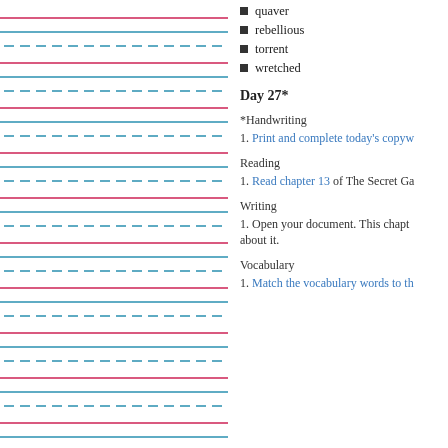quaver
rebellious
torrent
wretched
Day 27*
*Handwriting
1. Print and complete today's copyw
Reading
1. Read chapter 13 of The Secret Ga
Writing
1. Open your document. This chapt about it.
Vocabulary
1. Match the vocabulary words to th